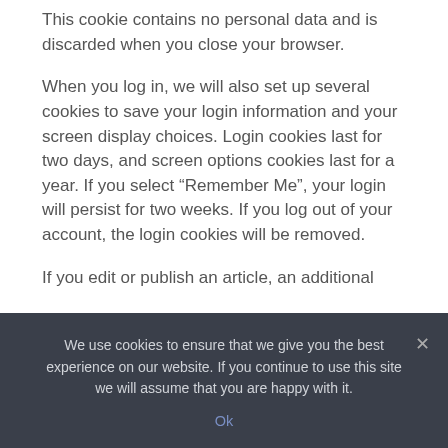This cookie contains no personal data and is discarded when you close your browser.
When you log in, we will also set up several cookies to save your login information and your screen display choices. Login cookies last for two days, and screen options cookies last for a year. If you select “Remember Me”, your login will persist for two weeks. If you log out of your account, the login cookies will be removed.
If you edit or publish an article, an additional
We use cookies to ensure that we give you the best experience on our website. If you continue to use this site we will assume that you are happy with it.
Ok